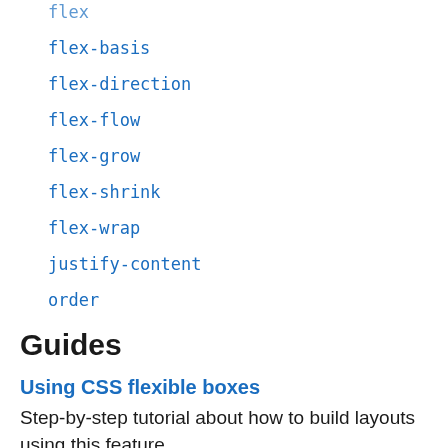flex
flex-basis
flex-direction
flex-flow
flex-grow
flex-shrink
flex-wrap
justify-content
order
Guides
Using CSS flexible boxes
Step-by-step tutorial about how to build layouts using this feature.